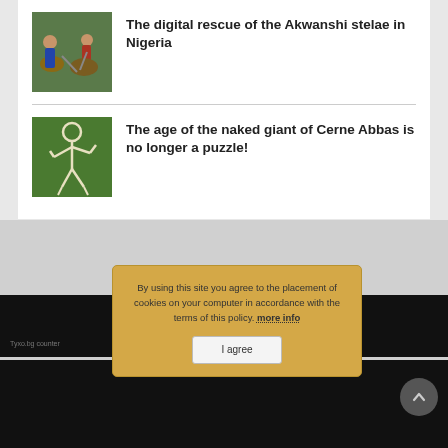[Figure (photo): People digging in soil around a stone stelae in Nigeria]
The digital rescue of the Akwanshi stelae in Nigeria
[Figure (photo): Aerial chalk figure of the Cerne Abbas Giant on a green hillside]
The age of the naked giant of Cerne Abbas is no longer a puzzle!
© 2015-2022 The Ancient Origins | About Us | Contact Us | Web... | more info | I agree
By using this site you agree to the placement of cookies on your computer in accordance with the terms of this policy. more info
I agree